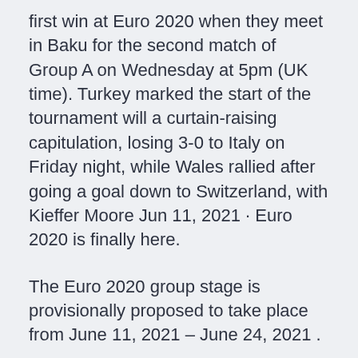first win at Euro 2020 when they meet in Baku for the second match of Group A on Wednesday at 5pm (UK time). Turkey marked the start of the tournament will a curtain-raising capitulation, losing 3-0 to Italy on Friday night, while Wales rallied after going a goal down to Switzerland, with Kieffer Moore Jun 11, 2021 · Euro 2020 is finally here.
The Euro 2020 group stage is provisionally proposed to take place from June 11, 2021 – June 24, 2021 .